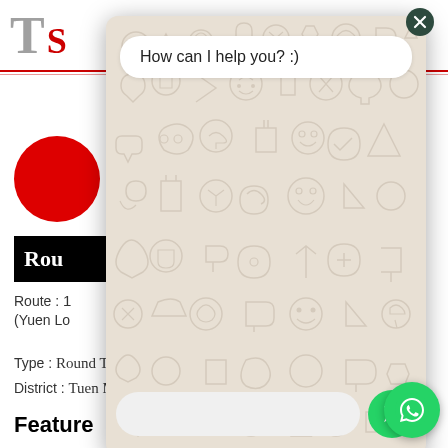[Figure (screenshot): Website screenshot showing a transport route page with a WhatsApp chat widget overlay. The overlay has a beige/tan WhatsApp-patterned background, a 'How can I help you? :)' message bubble, a text input field and send button. Below the overlay is route information: Route, (Yuen Lo..., Type: Round Trip, Zone: NT, District: Tuen Mun District, Yuen Long District, and a Feature section header.]